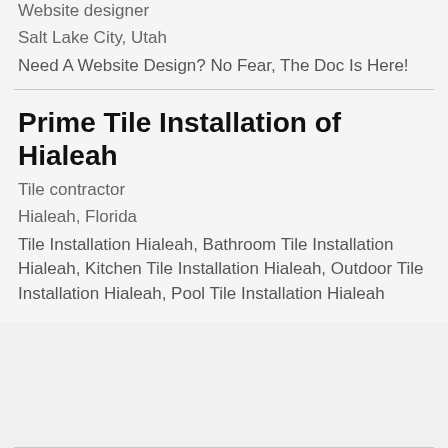Website designer
Salt Lake City, Utah
Need A Website Design? No Fear, The Doc Is Here!
Prime Tile Installation of Hialeah
Tile contractor
Hialeah, Florida
Tile Installation Hialeah, Bathroom Tile Installation Hialeah, Kitchen Tile Installation Hialeah, Outdoor Tile Installation Hialeah, Pool Tile Installation Hialeah